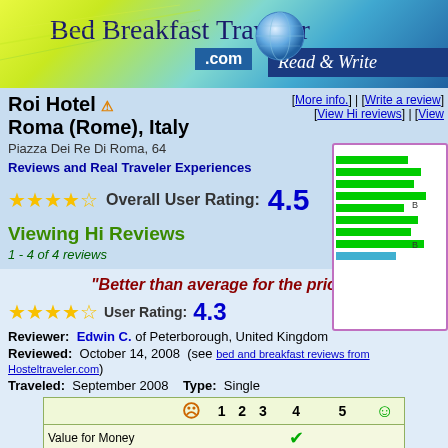Bed Breakfast Traveler .com Read & Write
Roi Hotel
Roma (Rome), Italy
Piazza Dei Re Di Roma, 64
[More info.] | [Write a review]
[View Hi reviews] | [View
Reviews and Real Traveler Experiences
[Figure (bar-chart): Rating bars chart showing green bars for various categories, partially visible on right side]
Overall User Rating: 4.5
Viewing Hi Reviews
1 - 4 of 4 reviews
"Better than average for the price."
User Rating: 4.3
Reviewer: Edwin C. of Peterborough, United Kingdom
Reviewed: October 14, 2008 (see bed and breakfast reviews from Hosteltraveler.com)
Traveled: September 2008   Type: Single
|  | 1 | 2 | 3 | 4 | 5 |  |
| --- | --- | --- | --- | --- | --- | --- |
| Value for Money |  |  |  | ✔ |  |  |
| Rooms |  |  |  |  | ✔ |  |